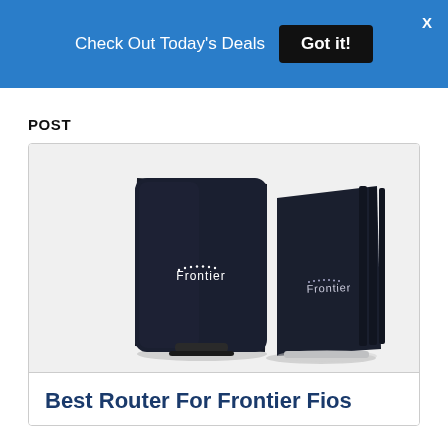Check Out Today's Deals  Got it!
POST
[Figure (photo): Two Frontier-branded black routers side by side on white background — one facing forward and one seen from a slight angle, both showing the Frontier logo in white text.]
Best Router For Frontier Fios